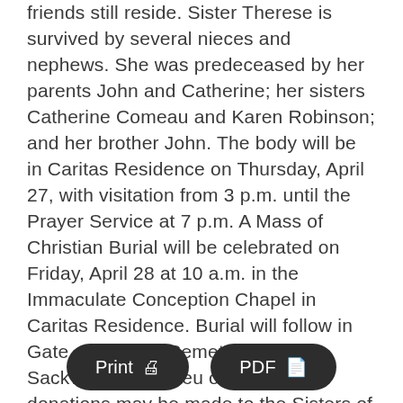friends still reside. Sister Therese is survived by several nieces and nephews. She was predeceased by her parents John and Catherine; her sisters Catherine Comeau and Karen Robinson; and her brother John. The body will be in Caritas Residence on Thursday, April 27, with visitation from 3 p.m. until the Prayer Service at 7 p.m. A Mass of Christian Burial will be celebrated on Friday, April 28 at 10 a.m. in the Immaculate Conception Chapel in Caritas Residence. Burial will follow in Gate of Heaven Cemetery, Lower Sackville, NS. In lieu of flowers, donations may be made to the Sisters of Charity Ministry Fund.
[Figure (other): Two dark rounded buttons: 'Print' with a printer icon and 'PDF' with a document icon]